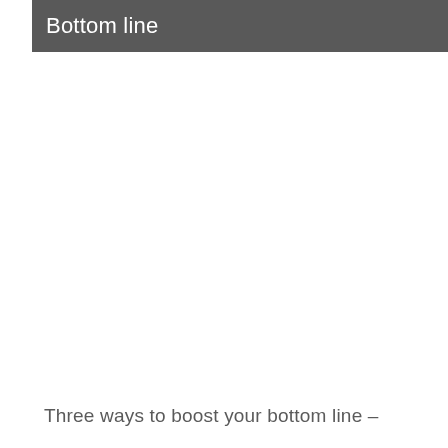Bottom line
Three ways to boost your bottom line –